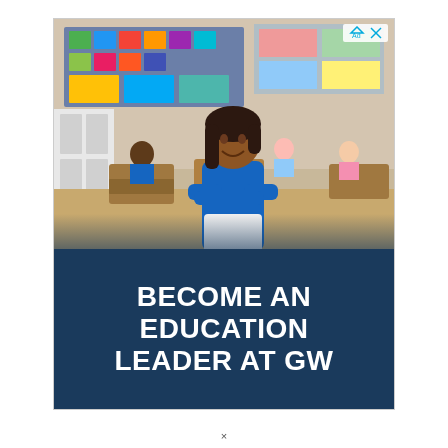[Figure (photo): Advertisement banner showing a smiling female teacher with arms crossed standing in a classroom full of young students seated at desks. The classroom has colorful displays on walls. Below the photo is a dark navy blue banner with white bold text reading 'BECOME AN EDUCATION LEADER AT GW'. A small ad icon is visible in the top right corner of the image.]